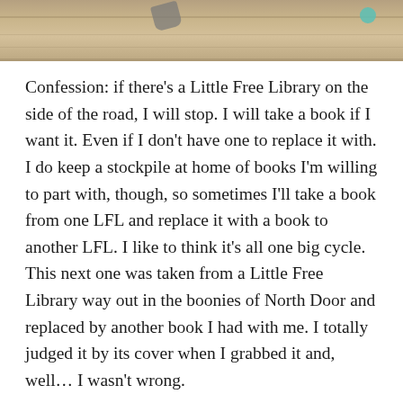[Figure (photo): Top portion of a photo showing a wooden surface (tabletop or floor with wood grain), with partial view of scissors or a similar metal object near the top center, and a small teal/turquoise object at top right. The photo is cropped at the bottom edge.]
Confession: if there's a Little Free Library on the side of the road, I will stop. I will take a book if I want it. Even if I don't have one to replace it with. I do keep a stockpile at home of books I'm willing to part with, though, so sometimes I'll take a book from one LFL and replace it with a book to another LFL. I like to think it's all one big cycle. This next one was taken from a Little Free Library way out in the boonies of North Door and replaced by another book I had with me. I totally judged it by its cover when I grabbed it and, well… I wasn't wrong.